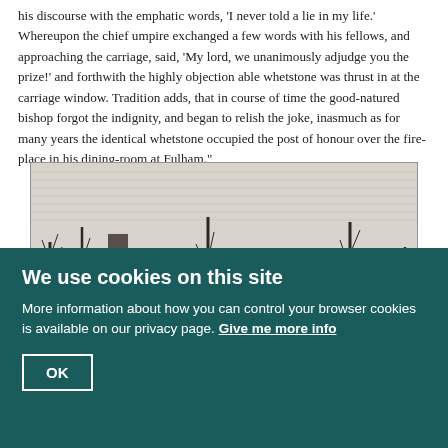his discourse with the emphatic words, 'I never told a lie in my life.' Whereupon the chief umpire exchanged a few words with his fellows, and approaching the carriage, said, 'My lord, we unanimously adjudge you the prize!' and forthwith the highly objection able whetstone was thrust in at the carriage window. Tradition adds, that in course of time the good-natured bishop forgot the indignity, and began to relish the joke, inasmuch as for many years the identical whetstone occupied the post of honour over the fire-place in his dining-room at Fulham."
[Figure (illustration): Black and white engraving of a building (appears to be a church or manor) with bare winter trees, rooftops visible, and a sky with hatched cloud lines. Victorian-era style illustration.]
We use cookies on this site
More information about how you can control your browser cookies is available on our privacy page. Give me more info
OK